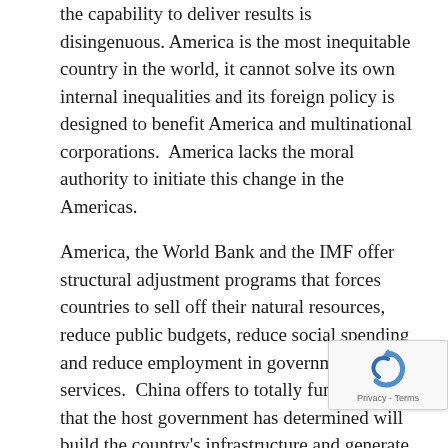the capability to deliver results is disingenuous. America is the most inequitable country in the world, it cannot solve its own internal inequalities and its foreign policy is designed to benefit America and multinational corporations.  America lacks the moral authority to initiate this change in the Americas.
America, the World Bank and the IMF offer structural adjustment programs that forces countries to sell off their natural resources, reduce public budgets, reduce social spending and reduce employment in government services.  China offers to totally fund projects that the host government has determined will build the country’s infrastructure and generate revenues to repay China’s loan.  Like all loans they must be paid, it is up to the governments of borrowing countries to manage these projects after completion to repay the loan.
President Biden and leaders of Latin American countries signed a new agreement to confront the consequences of